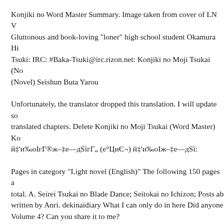Konjiki no Word Master Summary. Image taken from cover of LN V... Gluttonous and book-loving "loner" high school student Okamura Hi... Tsuki: IRC: #Baka-Tsuki@irc.rizon.net: Konjiki no Moji Tsukai (No... (Novel) Seishun Buta Yarou
Unfortunately, the translator dropped this translation. I will update so... translated chapters. Delete Konjiki no Moji Tsukai (Word Master) Ko... й‡'и‰оIгГ®ж–‡е—дSïгГ„ (е°ЦиЄ¬) й‡'и‰оIж–‡е—дSï:
Pages in category "Light novel (English)" The following 150 pages a... total. A. Seirei Tsukai no Blade Dance; Seitokai no Ichizon; Posts ab... written by Anri. dekinaidiary What I can only do in here Did anyone... Volume 4? Can you share it to me?
Konjiki no Moji Tsukai/Word MasternSHй‡'и‰оIгГ®ж–‡е—дSïгГ„гЂЉbrгГЇrгГjrг‰оrгГhr,№г,ïгЂК English Title: Golden Word Ma... еКГ'жнь¬г,№г,¤ Konjiki no Moji Tsukai - Chapter 87: Unyielding Th... at 18:36. thank you:d. Reply Delete. Shu Chou 21 April 2015 at 19:2...